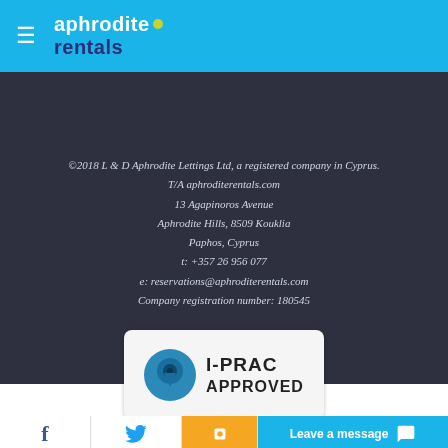aphroditerentals.com
©2018 L & D Aphrodite Lettings Ltd, a registered company in Cyprus.
T/A aphroditerentals.com
13 Agapinoros Avenue
Aphrodite Hills, 8509 Kouklia
Paphos, Cyprus
t: +357 26 956 077
e: reservations@aphroditerentals.com
Company registration number: 180545
[Figure (logo): I-PRAC Approved badge with blue circle icon and bold text]
f  [twitter]  Leave a message